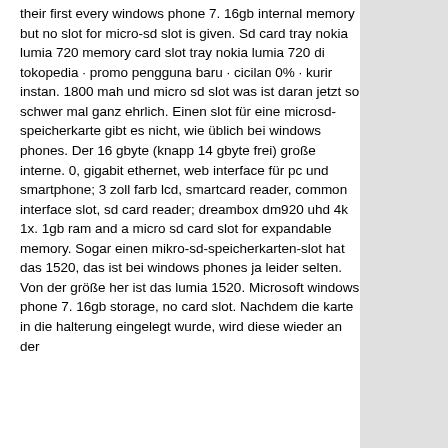their first every windows phone 7. 16gb internal memory but no slot for micro-sd slot is given. Sd card tray nokia lumia 720 memory card slot tray nokia lumia 720 di tokopedia · promo pengguna baru · cicilan 0% · kurir instan. 1800 mah und micro sd slot was ist daran jetzt so schwer mal ganz ehrlich. Einen slot für eine microsd-speicherkarte gibt es nicht, wie üblich bei windows phones. Der 16 gbyte (knapp 14 gbyte frei) große interne. 0, gigabit ethernet, web interface für pc und smartphone; 3 zoll farb lcd, smartcard reader, common interface slot, sd card reader; dreambox dm920 uhd 4k 1x. 1gb ram and a micro sd card slot for expandable memory. Sogar einen mikro-sd-speicherkarten-slot hat das 1520, das ist bei windows phones ja leider selten. Von der größe her ist das lumia 1520. Microsoft windows phone 7. 16gb storage, no card slot. Nachdem die karte in die halterung eingelegt wurde, wird diese wieder an der